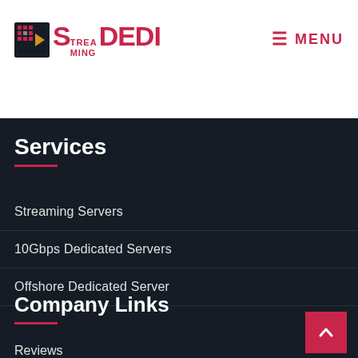[Figure (logo): StreamingDedi logo with stylized S icon and text]
≡ MENU
Services
Streaming Servers
10Gbps Dedicated Servers
Offshore Dedicated Server
Company Links
Reviews